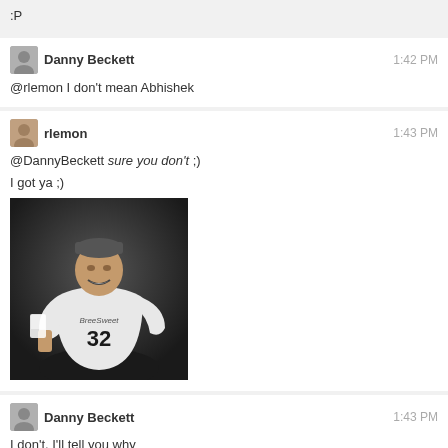:P
Danny Beckett  1:42 PM
@rlemon I don't mean Abhishek
rlemon  1:43 PM
@DannyBeckett sure you don't ;)
I got ya ;)
[Figure (photo): Black and white photo of a man wearing a jersey with number 32 holding a glass of milk, smiling]
Danny Beckett  1:43 PM
I don't, I'll tell you why
rlemon  1:43 PM
The Juice drinking his Juice